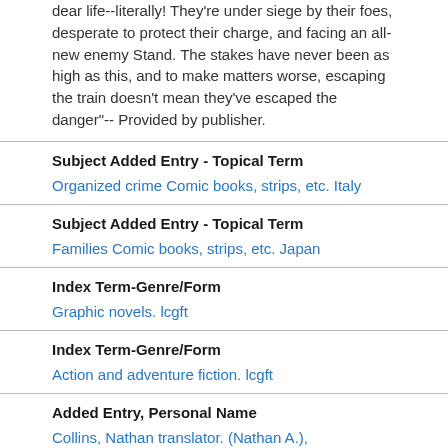dear life--literally! They're under siege by their foes, desperate to protect their charge, and facing an all-new enemy Stand. The stakes have never been as high as this, and to make matters worse, escaping the train doesn't mean they've escaped the danger"-- Provided by publisher.
Subject Added Entry - Topical Term
Organized crime Comic books, strips, etc. Italy
Subject Added Entry - Topical Term
Families Comic books, strips, etc. Japan
Index Term-Genre/Form
Graphic novels. lcgft
Index Term-Genre/Form
Action and adventure fiction. lcgft
Added Entry, Personal Name
Collins, Nathan translator. (Nathan A.),
Series Added Entry-Uniform Title